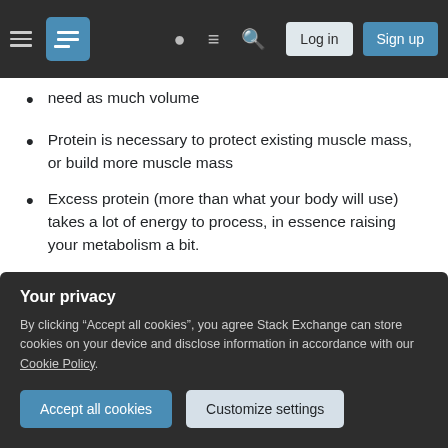Stack Exchange navigation bar with hamburger menu, logo, help icon, chat icon, search icon, Log in button, Sign up button
need as much volume
Protein is necessary to protect existing muscle mass, or build more muscle mass
Excess protein (more than what your body will use) takes a lot of energy to process, in essence raising your metabolism a bit.
Carbs:
Another problem we have is the overemphasis of carbohydrates in western diets. I'll go on a limb and
Your privacy
By clicking "Accept all cookies", you agree Stack Exchange can store cookies on your device and disclose information in accordance with our Cookie Policy.